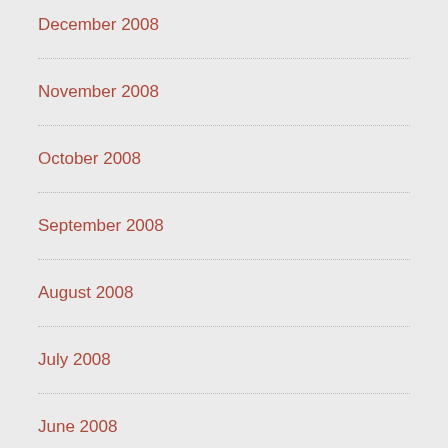December 2008
November 2008
October 2008
September 2008
August 2008
July 2008
June 2008
May 2008
April 2008
March 2008